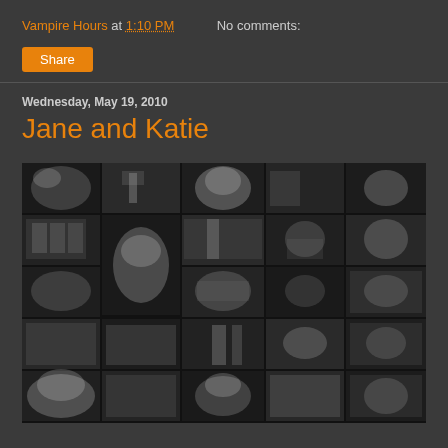Vampire Hours at 1:10 PM   No comments:
Share
Wednesday, May 19, 2010
Jane and Katie
[Figure (photo): A collage of black-and-white TV/film screenshots arranged in a grid, showing various performers including blonde women and male performers in formal black attire, appearing to be from a musical or performance show.]